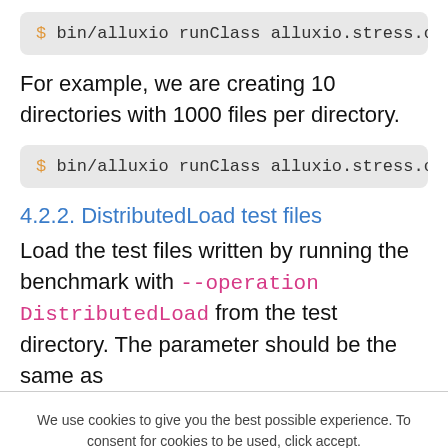$ bin/alluxio runClass alluxio.stress.c
For example, we are creating 10 directories with 1000 files per directory.
$ bin/alluxio runClass alluxio.stress.cli.S
4.2.2. DistributedLoad test files
Load the test files written by running the benchmark with --operation DistributedLoad from the test directory. The parameter should be the same as
We use cookies to give you the best possible experience. To consent for cookies to be used, click accept.
Accept
GDPR compliance powered by Autopilot.